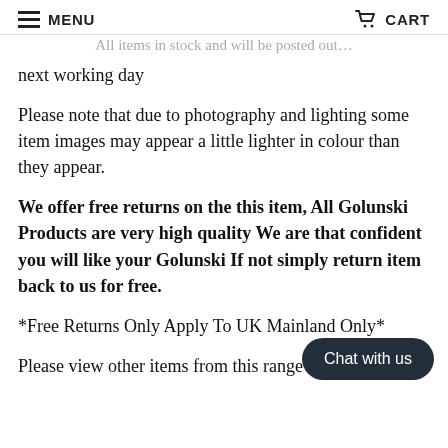MENU   CART
All items in stock and will be posted out next working day
Please note that due to photography and lighting some item images may appear a little lighter in colour than they appear.
We offer free returns on the this item, All Golunski Products are very high quality We are that confident you will like your Golunski If not simply return item back to us for free.
*Free Returns Only Apply To UK Mainland Only*
Please view other items from this range in